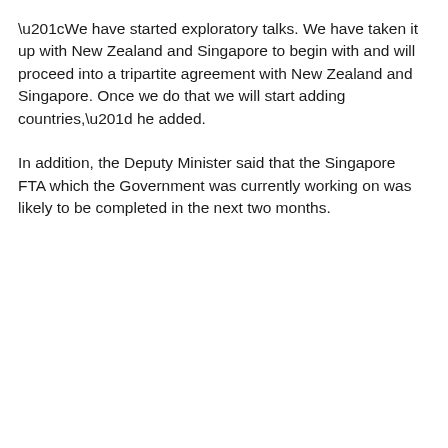“We have started exploratory talks. We have taken it up with New Zealand and Singapore to begin with and will proceed into a tripartite agreement with New Zealand and Singapore. Once we do that we will start adding countries,” he added.
In addition, the Deputy Minister said that the Singapore FTA which the Government was currently working on was likely to be completed in the next two months.